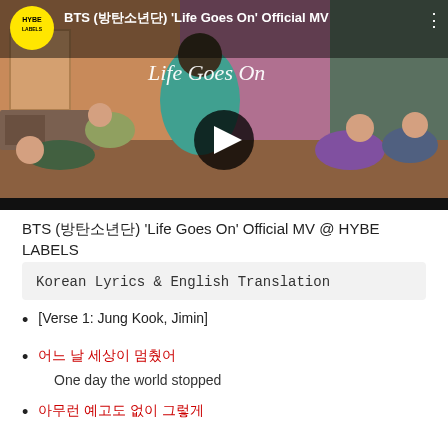[Figure (screenshot): YouTube video thumbnail for BTS Life Goes On Official MV showing band members lounging in a room with cursive 'Life Goes On' text overlay, HYBE LABELS channel badge, play button, and three-dot menu icon]
BTS (방탄소년단) 'Life Goes On' Official MV @ HYBE LABELS
Korean Lyrics & English Translation
[Verse 1: Jung Kook, Jimin]
어느 날 세상이 멈췄어
One day the world stopped
아무런 예고도 없이 그렇게